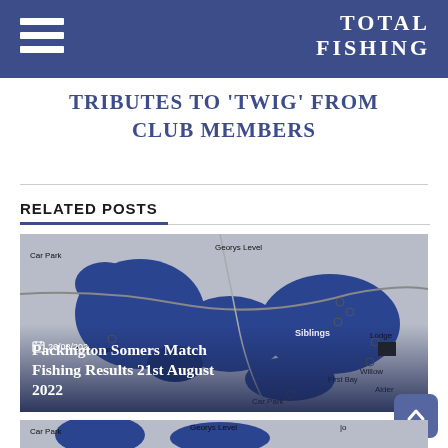TOTAL FISHING
TRIBUTES TO 'TWIG' FROM CLUB MEMBERS
RELATED POSTS
[Figure (photo): A fishing lake map image overlaid with title 'Packington Somers Match Fishing Results 21st August 2022' and date '26/08/2022'. The map shows blue water areas labeled Car Park, Georys Level, Siblings, Anniversaries, First Bay, Lodge, Willow, Alder, Car Park.]
[Figure (photo): Partial preview of a second fishing lake map card at the bottom of the page.]